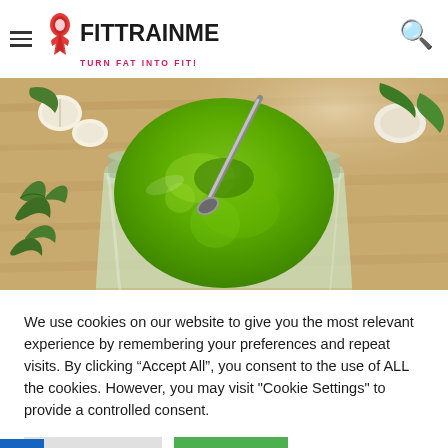FITTRAINME — TURN FAT INTO FIT!
[Figure (photo): A glass jar filled with bright green pesto sauce, a metal spoon/fork inserted into it, surrounded by kale leaves, basil, and garlic cloves on a wooden surface.]
We use cookies on our website to give you the most relevant experience by remembering your preferences and repeat visits. By clicking “Accept All”, you consent to the use of ALL the cookies. However, you may visit "Cookie Settings" to provide a controlled consent.
Cookie Settings   Accept All